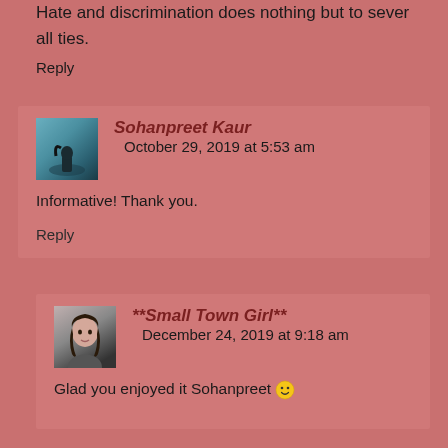Hate and discrimination does nothing but to sever all ties.
Reply
Sohanpreet Kaur   October 29, 2019 at 5:53 am
Informative! Thank you.
Reply
**Small Town Girl**   December 24, 2019 at 9:18 am
Glad you enjoyed it Sohanpreet 😀